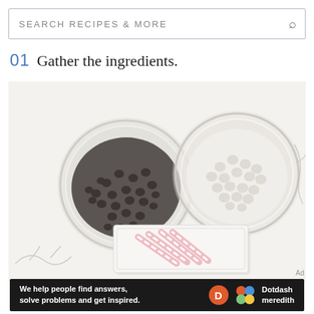SEARCH RECIPES & MORE
01  Gather the ingredients.
[Figure (photo): Overhead flat-lay photo of baking ingredients on a white marble surface: a glass bowl filled with dark chocolate chips (left), a glass bowl filled with white chocolate chips or mini marshmallows (right), and a white rectangular tray with wrapped candy canes (bottom center).]
Ad
[Figure (logo): Dotdash Meredith advertisement banner: dark background with text 'We help people find answers, solve problems and get inspired.' alongside the Dotdash D logo (orange circle) and colorful Dotdash Meredith flower/circle logo with text 'Dotdash meredith'.]